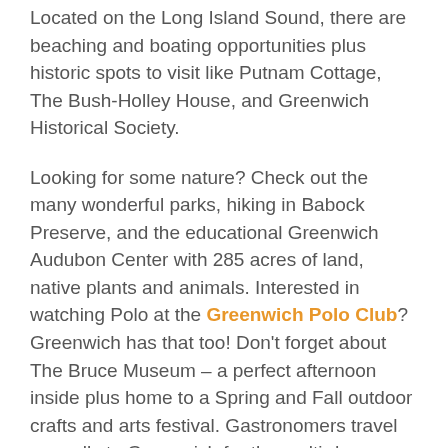Located on the Long Island Sound, there are beaching and boating opportunities plus historic spots to visit like Putnam Cottage, The Bush-Holley House, and Greenwich Historical Society.
Looking for some nature? Check out the many wonderful parks, hiking in Babock Preserve, and the educational Greenwich Audubon Center with 285 acres of land, native plants and animals. Interested in watching Polo at the Greenwich Polo Club? Greenwich has that too! Don't forget about The Bruce Museum – a perfect afternoon inside plus home to a Spring and Fall outdoor crafts and arts festival. Gastronomers travel annually to Greenwich for the multi-day Greenwich Wine and Food Festival, yum!
Depending on the time of year, dogs are welcome at some Greenwich beaches also. Definitely check out Greenwich Point Park and Great Captain's Island & Little Captain's Island. If you're interested